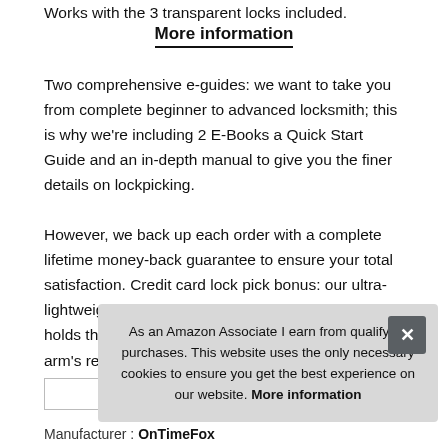Works with the 3 transparent locks included.
More information
Two comprehensive e-guides: we want to take you from complete beginner to advanced locksmith; this is why we're including 2 E-Books a Quick Start Guide and an in-depth manual to give you the finer details on lockpicking.
However, we back up each order with a complete lifetime money-back guarantee to ensure your total satisfaction. Credit card lock pick bonus: our ultra-lightweight james Bond Credit Card Lock Pick Set holds the 5 most important lock picking tools at an arm's reach. Master picking the different lock types as y
As an Amazon Associate I earn from qualifying purchases. This website uses the only necessary cookies to ensure you get the best experience on our website. More information
Manufacturer : OnTimeFox